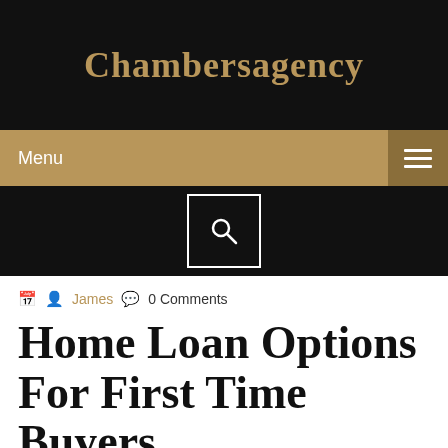Chambersagency
Menu
James  0 Comments
Home Loan Options For First Time Buyers
Fixed-rate loans, ARMs, FHA loans, VA loans,
Contents